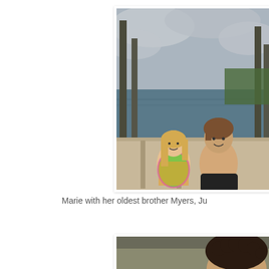[Figure (photo): A young girl in a colorful floral swimsuit and a teenage boy without a shirt sitting together on a dock by a lake, with trees and cloudy sky in the background.]
Marie with her oldest brother Myers, Ju
[Figure (photo): Partial view of a person's head with curly dark hair, indoors with a neutral background.]